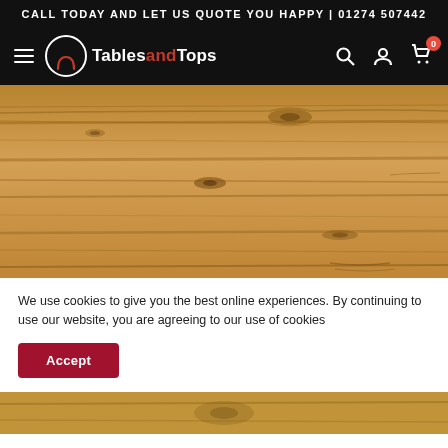CALL TODAY AND LET US QUOTE YOU HAPPY | 01274 507442
[Figure (screenshot): TablesandTops website navigation bar with hamburger menu, logo (circle with arch icon), brand name 'TablesandTops' (with 'and' in red), and right-side icons for search, account, and cart showing 0 items.]
[Figure (photo): Close-up photograph of a wooden table top surface showing natural wood grain, knots, and horizontal grain lines in warm brown tones.]
We use cookies to give you the best online experiences. By continuing to use our website, you are agreeing to our use of cookies
[Figure (photo): Partial view of another image peeking from the bottom of the page.]